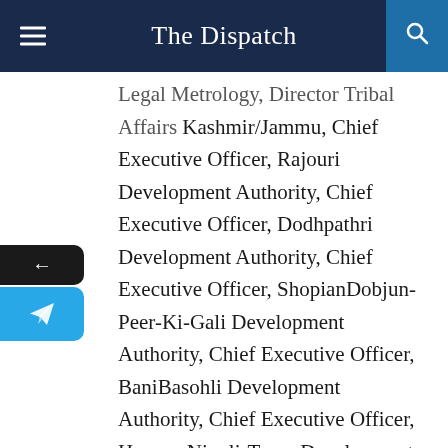The Dispatch
Legal Metrology, Director Tribal Affairs Kashmir/Jammu, Chief Executive Officer, Rajouri Development Authority, Chief Executive Officer, Dodhpathri Development Authority, Chief Executive Officer, ShopianDobjun-Peer-Ki-Gali Development Authority, Chief Executive Officer, BaniBasohli Development Authority, Chief Executive Officer, Hygam-Ningli-Tarzo Development Authority and Director Handloom and Handicrafts have been brought in the list of officers who will exercise financial